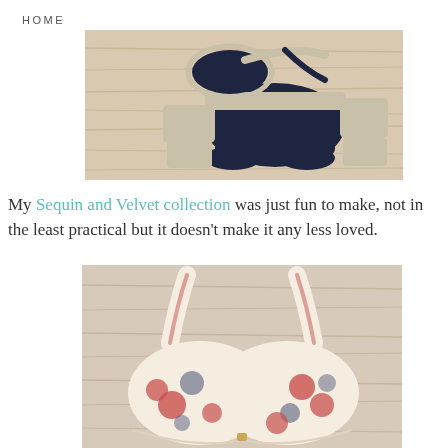HOME
[Figure (photo): Navy blue and white/gray sequin bikini top and high-waisted bottoms laid flat on a light wood surface]
My Sequin and Velvet collection was just fun to make, not in the least practical but it doesn't make it any less loved.
[Figure (photo): Floral print bra/bikini top with pink roses and navy blue leaves on a cream background, laid on a light wood surface]